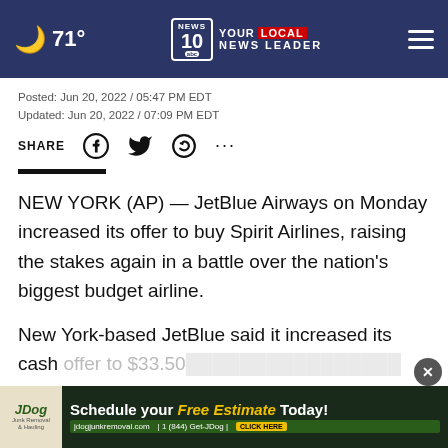71° | NEWS 10 YOUR LOCAL NEWS LEADER
Posted: Jun 20, 2022 / 05:47 PM EDT
Updated: Jun 20, 2022 / 07:09 PM EDT
SHARE
NEW YORK (AP) — JetBlue Airways on Monday increased its offer to buy Spirit Airlines, raising the stakes again in a battle over the nation's biggest budget airline.
New York-based JetBlue said it increased its cash offer to $33.50… 3.6 billion.
[Figure (other): JDog junk removal advertisement banner: Schedule your Free Estimate Today! jdogjunkremoval.com | 1 (844) Get-JDog | CLICK HERE]